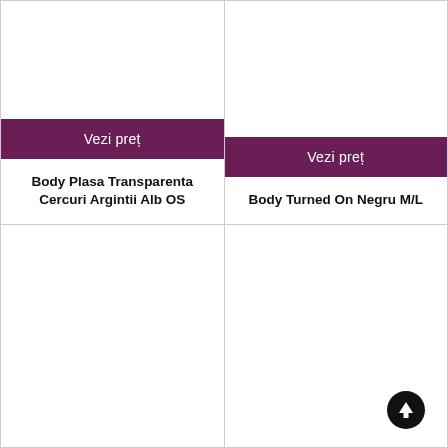[Figure (photo): Product image placeholder for Body Plasa Transparenta Cercuri Argintii Alb OS (top-left cell, white background)]
Vezi preț
Body Plasa Transparenta Cercuri Argintii Alb OS
[Figure (photo): Product image placeholder for Body Turned On Negru M/L (top-right cell, white background)]
Vezi preț
Body Turned On Negru M/L
[Figure (photo): Product image placeholder (bottom-left cell, white background)]
[Figure (photo): Product image placeholder (bottom-right cell, white background) with scroll-up arrow icon]
[Figure (illustration): Circular scroll-to-top arrow icon, black with white up arrow]